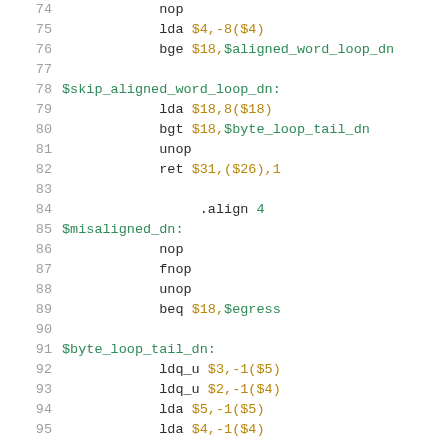74    nop
75        lda $4,-8($4)
76        bge $18,$aligned_word_loop_dn
77
78 $skip_aligned_word_loop_dn:
79        lda $18,8($18)
80        bgt $18,$byte_loop_tail_dn
81        unop
82        ret $31,($26),1
83
84             .align 4
85 $misaligned_dn:
86        nop
87        fnop
88        unop
89        beq $18,$egress
90
91 $byte_loop_tail_dn:
92        ldq_u $3,-1($5)
93        ldq_u $2,-1($4)
94        lda $5,-1($5)
95        lda $4,-1($4)